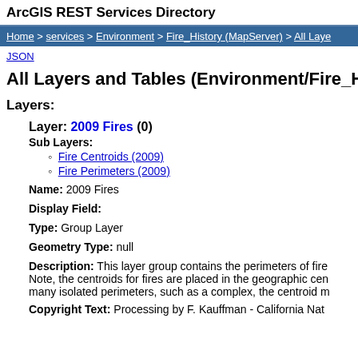ArcGIS REST Services Directory
Home > services > Environment > Fire_History (MapServer) > All Layers and Tables
JSON
All Layers and Tables (Environment/Fire_History (MapServer))
Layers:
Layer: 2009 Fires (0)
Sub Layers:
Fire Centroids (2009)
Fire Perimeters (2009)
Name: 2009 Fires
Display Field:
Type: Group Layer
Geometry Type: null
Description: This layer group contains the perimeters of fires. Note, the centroids for fires are placed in the geographic center of many isolated perimeters, such as a complex, the centroid m
Copyright Text: Processing by F. Kauffman - California Nat